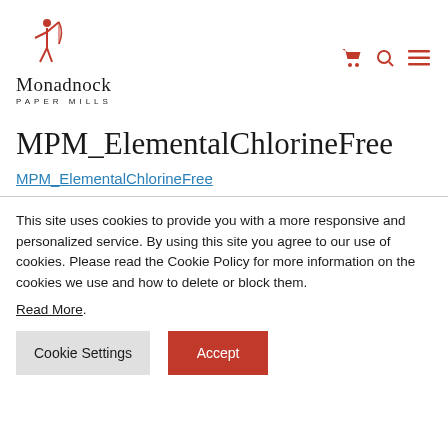[Figure (logo): Monadnock Paper Mills logo with red archer figure above text 'Monadnock' in serif font and 'PAPER MILLS' in small caps below]
MPM_ElementalChlorineFree
MPM_ElementalChlorineFree
This site uses cookies to provide you with a more responsive and personalized service. By using this site you agree to our use of cookies. Please read the Cookie Policy for more information on the cookies we use and how to delete or block them.
Read More.
Cookie Settings  Accept